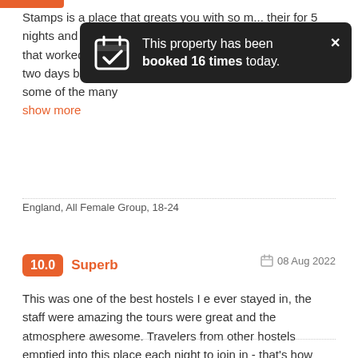Stamps is a place that greats you with so m... their for 5 nights and loved getting to know all the travellers and staff that worked there. We were all a bit exauhsted for the first two days but then got some energy and got envolved in some of the many show more
[Figure (infographic): Dark tooltip overlay: 'This property has been booked 16 times today.' with a calendar checkmark icon and an X close button.]
England, All Female Group, 18-24
10.0 Superb  08 Aug 2022
This was one of the best hostels I e ever stayed in, the staff were amazing the tours were great and the atmosphere awesome. Travelers from other hostels emptied into this place each night to join in - that's how good it is.